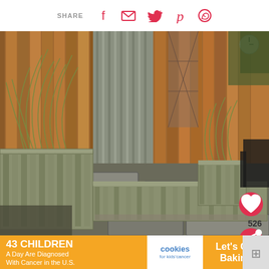SHARE [facebook] [email] [twitter] [pinterest] [whatsapp]
[Figure (photo): Outdoor patio area with sage-green painted wooden planter boxes arranged along a wooden fence. Large ornamental grasses grow in the planters. The pathway features flat stone pavers with gravel between them. A corrugated semi-transparent panel divides the space. Background shows wood fence panels, a clock, and patio furniture.]
WHAT'S NEXT → Solar Plant Pot Water...
43 CHILDREN A Day Are Diagnosed With Cancer in the U.S. cookies for kids' cancer Let's Get Baking